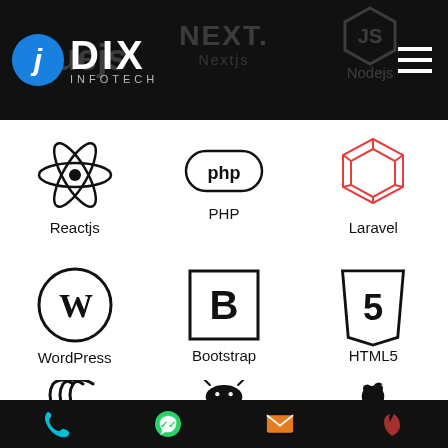[Figure (logo): jDIX INFOTECH logo with blue circle J and white DIX text on dark header bar, with hamburger menu icon. Faded background logos: Vuejs, Nextjs, Nodejs]
[Figure (logo): Reactjs logo - atomic symbol]
Reactjs
[Figure (logo): PHP logo - pill shape with php text]
PHP
[Figure (logo): Laravel logo - red geometric L shape]
Laravel
[Figure (logo): WordPress logo - W in circle]
WordPress
[Figure (logo): Bootstrap logo - B in square]
Bootstrap
[Figure (logo): HTML5 logo - shield with 5]
HTML5
[Figure (logo): JQuery logo - swoosh arcs]
JQuery
[Figure (logo): Android logo - android robot head]
Android
[Figure (logo): Ios logo - apple logo]
Ios
[Figure (logo): Bottom bar with phone icon (cyan), WhatsApp icon (green), email icon (orange), and partial fire/magento icon]